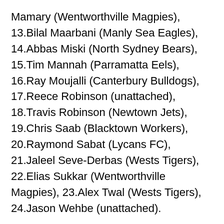Mamary (Wentworthville Magpies), 13.Bilal Maarbani (Manly Sea Eagles), 14.Abbas Miski (North Sydney Bears), 15.Tim Mannah (Parramatta Eels), 16.Ray Moujalli (Canterbury Bulldogs), 17.Reece Robinson (unattached), 18.Travis Robinson (Newtown Jets), 19.Chris Saab (Blacktown Workers), 20.Raymond Sabat (Lycans FC), 21.Jaleel Seve-Derbas (Wests Tigers), 22.Elias Sukkar (Wentworthville Magpies), 23.Alex Twal (Wests Tigers), 24.Jason Wehbe (unattached).
Pool B
New Zealand
1.Nelson Asofa-Solomona (Melbourne Storm), 2.Gerard Beale (Cronulla Sharks), 3.Adam Blair (Captain) (Brisbane Broncos), 4.Kenneath Bromwich (Melbourne Storm), 5.Addin Fonua-Blake (Manly Sea Eagles), 6.Peta Hiku (Warrington